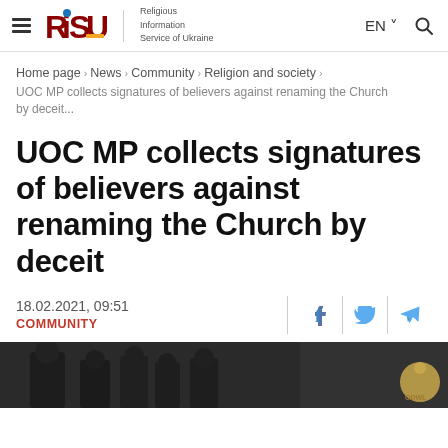RISU — Religious Information Service of Ukraine | EN | Search
Home page › News › Community › Religion and society › UOC MP collects signatures of believers against renaming the Church by deceit...
UOC MP collects signatures of believers against renaming the Church by deceit
18.02.2021, 09:51
COMMUNITY
[Figure (photo): Group of people in dark clothing, appears to be Orthodox clergy and believers gathered indoors, with a religious icon/logo visible in bottom right corner]